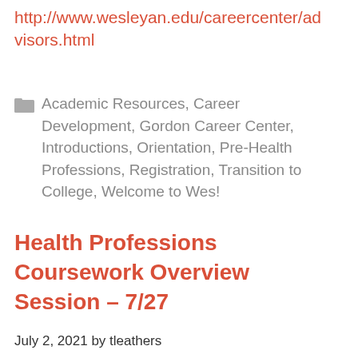http://www.wesleyan.edu/careercenter/advisors.html
Academic Resources, Career Development, Gordon Career Center, Introductions, Orientation, Pre-Health Professions, Registration, Transition to College, Welcome to Wes!
Health Professions Coursework Overview Session – 7/27
July 2, 2021 by tleathers